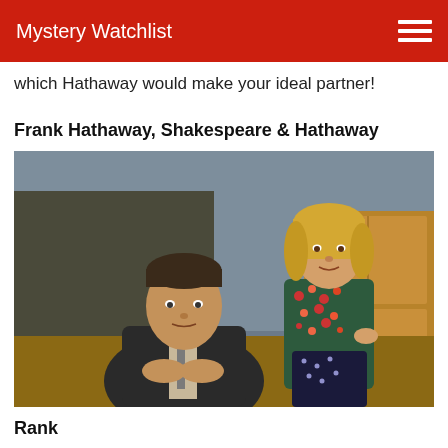Mystery Watchlist
which Hathaway would make your ideal partner!
Frank Hathaway, Shakespeare & Hathaway
[Figure (photo): Two people in a detective agency office setting. A middle-aged man in a dark suit with a tie sits at a cluttered desk, hands clasped, looking serious. Behind him stands a blonde woman in a floral jacket over a dark polka-dot dress, hand on hip, smiling. The office has wooden cabinets, files, and vintage equipment in the background.]
Rank